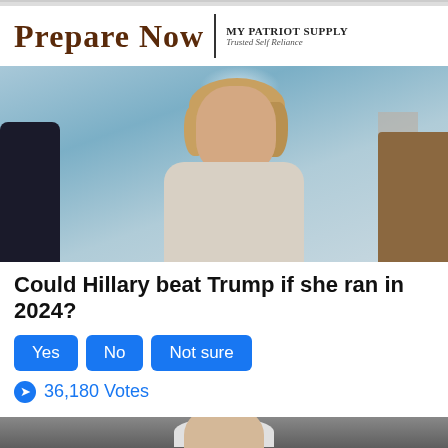[Figure (logo): Prepare Now | My Patriot Supply - Trusted Self Reliance advertisement banner]
[Figure (photo): Photo of Hillary Clinton smiling in a tweed jacket with a dark scarf/necklace, standing in a formal interior setting with chandelier and blue walls]
Could Hillary beat Trump if she ran in 2024?
Yes  No  Not sure
36,180 Votes
[Figure (photo): Partial photo of another person, only top of head visible at bottom of page]